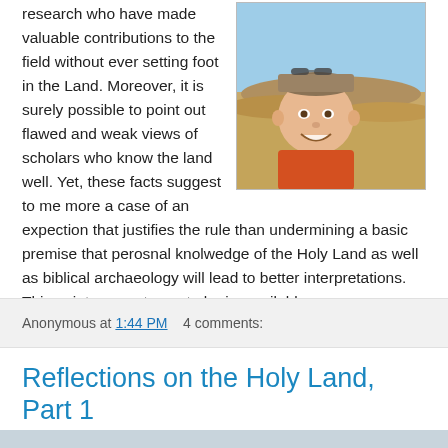research who have made valuable contributions to the field without ever setting foot in the Land. Moreover, it is surely possible to point out flawed and weak views of scholars who know the land well. Yet, these facts suggest to me more a case of an expection that justifies the rule than undermining a basic premise that perosnal knolwedge of the Holy Land as well as biblical archaeology will lead to better interpretations. This point seems to me to be inassailable.
[Figure (photo): A smiling man wearing a baseball cap and sunglasses on his head and an orange shirt, taking a selfie against a desert landscape background.]
Anonymous at 1:44 PM    4 comments:
Reflections on the Holy Land, Part 1